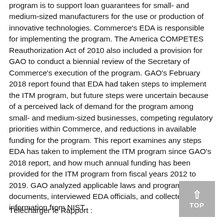program is to support loan guarantees for small- and medium-sized manufacturers for the use or production of innovative technologies. Commerce's EDA is responsible for implementing the program. The America COMPETES Reauthorization Act of 2010 also included a provision for GAO to conduct a biennial review of the Secretary of Commerce's execution of the program. GAO's February 2018 report found that EDA had taken steps to implement the ITM program, but future steps were uncertain because of a perceived lack of demand for the program among small- and medium-sized businesses, competing regulatory priorities within Commerce, and reductions in available funding for the program. This report examines any steps EDA has taken to implement the ITM program since GAO's 2018 report, and how much annual funding has been provided for the ITM program from fiscal years 2012 to 2019. GAO analyzed applicable laws and program documents, interviewed EDA officials, and collected information from NIST.
Télécharger le Rapport :